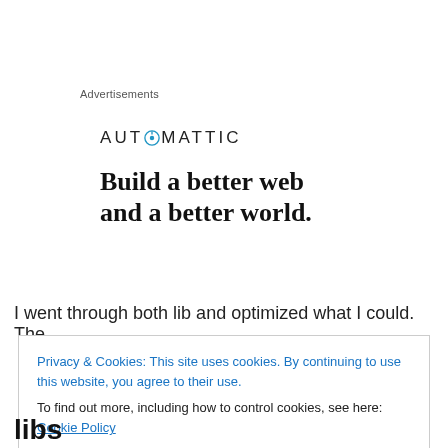Advertisements
[Figure (logo): Automattic logo with compass icon replacing the letter O, followed by tagline 'Build a better web and a better world.']
I went through both lib and optimized what I could. The
Privacy & Cookies: This site uses cookies. By continuing to use this website, you agree to their use.
To find out more, including how to control cookies, see here: Cookie Policy
Close and accept
libs